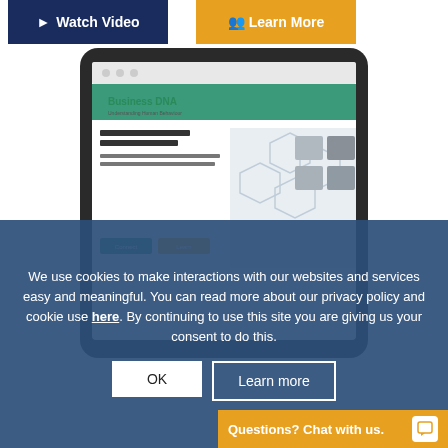[Figure (screenshot): Watch Video button (dark navy) and Learn More button (amber/gold) at the top of the page]
[Figure (photo): A tablet device displaying the Business DNA website with 'THE DNA COACH NETWORK' text and profile photos]
We use cookies to make interactions with our websites and services easy and meaningful. You can read more about our privacy policy and cookie use here. By continuing to use this site you are giving us your consent to do this.
[Figure (screenshot): OK button (white) and Learn more button (outlined white) inside the cookie consent overlay]
[Figure (screenshot): Questions? Chat with us. chat bar at the bottom right in amber/gold color]